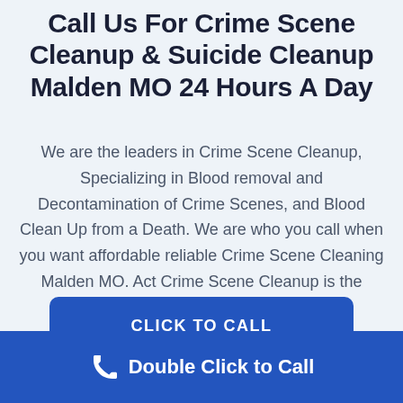Call Us For Crime Scene Cleanup & Suicide Cleanup Malden MO 24 Hours A Day
We are the leaders in Crime Scene Cleanup, Specializing in Blood removal and Decontamination of Crime Scenes, and Blood Clean Up from a Death. We are who you call when you want affordable reliable Crime Scene Cleaning Malden MO. Act Crime Scene Cleanup is the Brand Name for Biohazard Cleaning
CLICK TO CALL
Double Click to Call